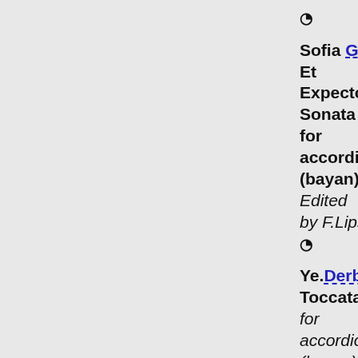⊗
Sofia Gubaidulina Et Expecto. Sonata for accordion (bayan). Edited by F.Lips ⊗
Ye.Derbenko Toccata for accordion (bayan) ⊗
Vyacheslav Semyonov Belolitsa Kruglolits...